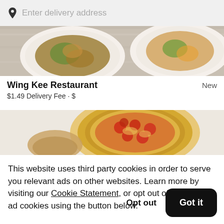Enter delivery address
[Figure (photo): Food photo showing white plates with Asian dishes on a wooden surface]
Wing Kee Restaurant
New
$1.49 Delivery Fee · $
[Figure (photo): Food photo showing a pepperoni pizza on white surface]
This website uses third party cookies in order to serve you relevant ads on other websites. Learn more by visiting our Cookie Statement, or opt out of third party ad cookies using the button below.
Opt out
Got it